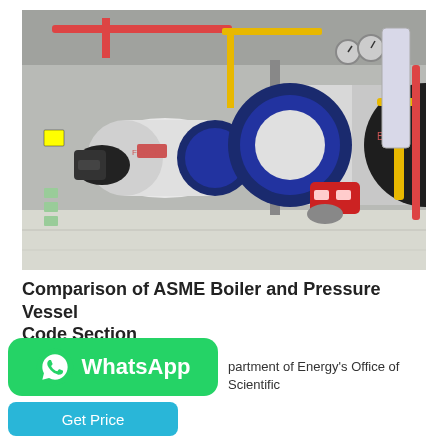[Figure (photo): Industrial boiler room with two large horizontal cylindrical pressure vessel boilers. The left boiler is smaller with a black burner attached; the right is larger with a red burner. Both have blue/navy end caps and are connected by yellow and red piping. Gauges and control panels visible in background.]
Comparison of ASME Boiler and Pressure Vessel Code Section
partment of Energy's Office of Scientific